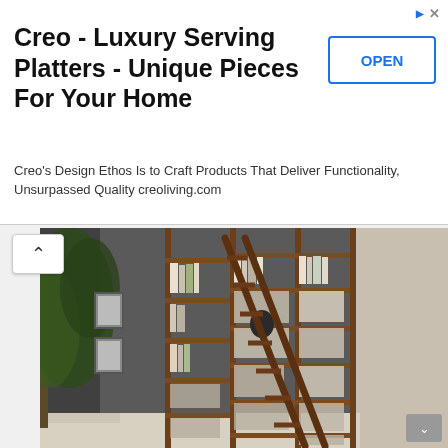Creo - Luxury Serving Platters - Unique Pieces For Your Home
Creo's Design Ethos Is to Craft Products That Deliver Functionality, Unsurpassed Quality creoliving.com
[Figure (photo): Interior photo of a large floor-to-ceiling wooden bookshelf filled with books and decorative objects, with a tall wooden ladder leaning against it. An olive tree plant is visible on the left side, and framed artwork on the wall. The room has dark walls and light flooring.]